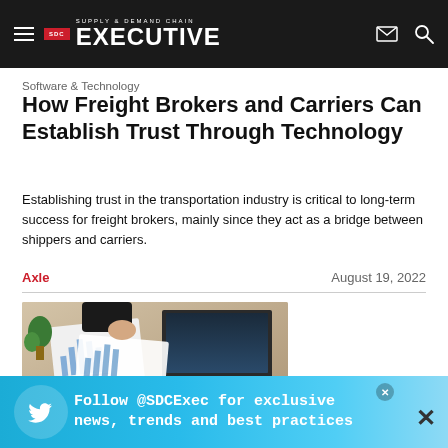SDC Supply & Demand Chain Executive
Software & Technology
How Freight Brokers and Carriers Can Establish Trust Through Technology
Establishing trust in the transportation industry is critical to long-term success for freight brokers, mainly since they act as a bridge between shippers and carriers.
Axle   August 19, 2022
[Figure (photo): Overhead view of business meeting with papers showing charts, laptop, phone, and small plant on desk]
Sourcing & Procurement
Follow @SDCExec for exclusive news, trends and best practices